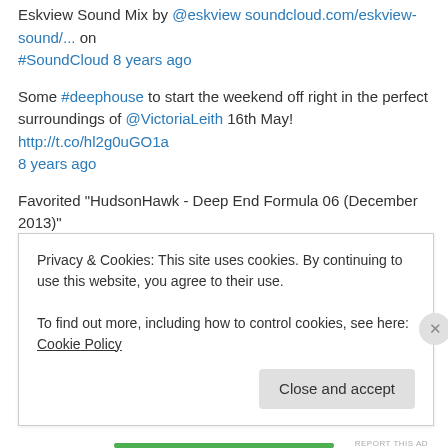Eskview Sound Mix by @eskview soundcloud.com/eskview-sound/... on #SoundCloud 8 years ago
Some #deephouse to start the weekend off right in the perfect surroundings of @VictoriaLeith 16th May! http://t.co/hl2g0uGO1a 8 years ago
Favorited "HudsonHawk - Deep End Formula 06 (December 2013)" i.mixcloud.com/CFbZcL by HudsonHawk 8 years ago
Favorited "UM01" i.mixcloud.com/CBofH1 by UM_RadioShow 8 years ago
Just added this to my favourites on Soundcloud: The Best of UM 2013 -
Privacy & Cookies: This site uses cookies. By continuing to use this website, you agree to their use.
To find out more, including how to control cookies, see here: Cookie Policy